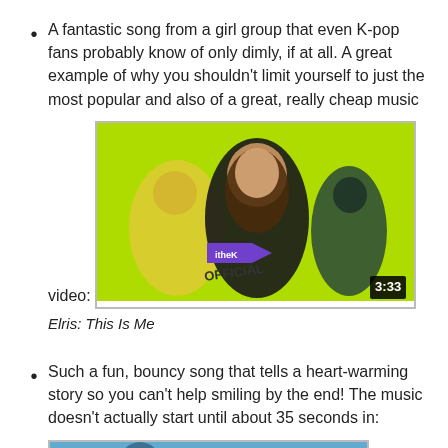A fantastic song from a girl group that even K-pop fans probably know of only dimly, if at all. A great example of why you shouldn't limit yourself to just the most popular and also of a great, really cheap music video:
[Figure (screenshot): YouTube video thumbnail showing K-pop girl group with bright green background, three women posing, 'itheK OFFICIAL' branding in lower left, duration 3:33 in lower right]
Elris: This Is Me
Such a fun, bouncy song that tells a heart-warming story so you can't help smiling by the end! The music doesn't actually start until about 35 seconds in:
[Figure (screenshot): Partial YouTube video thumbnail visible at bottom of page]